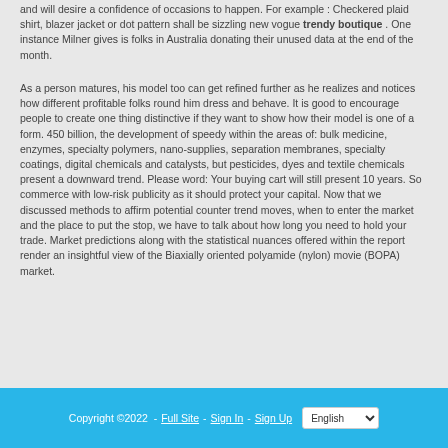and will desire a confidence of occasions to happen. For example : Checkered plaid shirt, blazer jacket or dot pattern shall be sizzling new vogue trendy boutique . One instance Milner gives is folks in Australia donating their unused data at the end of the month.
As a person matures, his model too can get refined further as he realizes and notices how different profitable folks round him dress and behave. It is good to encourage people to create one thing distinctive if they want to show how their model is one of a form. 450 billion, the development of speedy within the areas of: bulk medicine, enzymes, specialty polymers, nano-supplies, separation membranes, specialty coatings, digital chemicals and catalysts, but pesticides, dyes and textile chemicals present a downward trend. Please word: Your buying cart will still present 10 years. So commerce with low-risk publicity as it should protect your capital. Now that we discussed methods to affirm potential counter trend moves, when to enter the market and the place to put the stop, we have to talk about how long you need to hold your trade. Market predictions along with the statistical nuances offered within the report render an insightful view of the Biaxially oriented polyamide (nylon) movie (BOPA) market.
Copyright ©2022  -  Full Site  -  Sign In  -  Sign Up  English